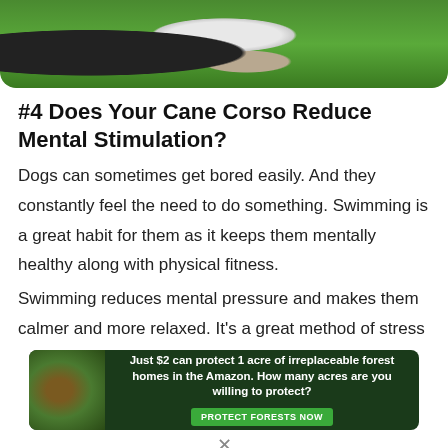[Figure (photo): Photo of a black dog standing on grass near a small white dog house, partially cropped at top]
#4 Does Your Cane Corso Reduce Mental Stimulation?
Dogs can sometimes get bored easily. And they constantly feel the need to do something. Swimming is a great habit for them as it keeps them mentally healthy along with physical fitness.
Swimming reduces mental pressure and makes them calmer and more relaxed. It's a great method of stress
[Figure (screenshot): Advertisement banner: Just $2 can protect 1 acre of irreplaceable forest homes in the Amazon. How many acres are you willing to protect? PROTECT FORESTS NOW]